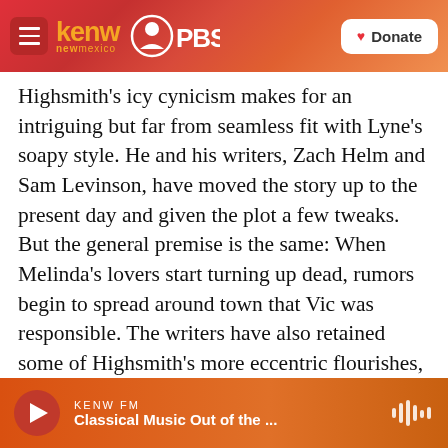kenw new mexico PBS — Donate
Highsmith's icy cynicism makes for an intriguing but far from seamless fit with Lyne's soapy style. He and his writers, Zach Helm and Sam Levinson, have moved the story up to the present day and given the plot a few tweaks. But the general premise is the same: When Melinda's lovers start turning up dead, rumors begin to spread around town that Vic was responsible. The writers have also retained some of Highsmith's more eccentric flourishes, including Vic's prized snail collection: If you've ever wanted to see Ben Affleck look on affectionately while snails slither across his open palm, this is the movie for you.
KENW FM — Classical Music Out of the ...